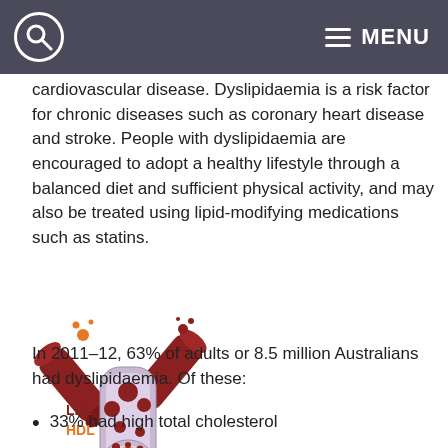MENU
cardiovascular disease. Dyslipidaemia is a risk factor for chronic diseases such as coronary heart disease and stroke. People with dyslipidaemia are encouraged to adopt a healthy lifestyle through a balanced diet and sufficient physical activity, and may also be treated using lipid-modifying medications such as statins.
[Figure (illustration): Illustration of a blood vessel cross-section showing LDL (dark red) and HDL (orange) cholesterol particles inside the vessel. Labels 'LDL' in dark red and 'HDL' in orange appear to the left of the vessel diagram.]
In 2011–12, 63% of adults or 8.5 million Australians had dyslipidaemia. Of these:
33% had high total cholesterol